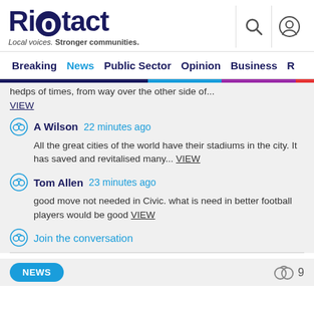Riotact — Local voices. Stronger communities.
Breaking | News | Public Sector | Opinion | Business | R
hedps of times, from way over the other side of... VIEW
A Wilson  22 minutes ago
All the great cities of the world have their stadiums in the city. It has saved and revitalised many... VIEW
Tom Allen  23 minutes ago
good move not needed in Civic. what is need in better football players would be good VIEW
Join the conversation
NEWS  [comment icon] 9